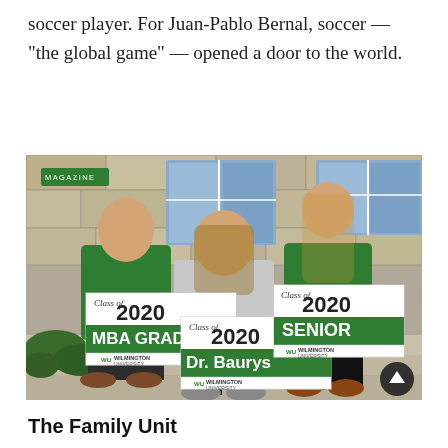soccer player. For Juan-Pablo Bernal, soccer — “the global game” — opened a door to the world.
[Figure (photo): Three people sitting on front steps holding Wilmington University Class of 2020 signs: left person holds 'MBA GRAD', center person holds 'Dr. Baurys', right person holds 'SENIOR'. A green MAGAZINE badge overlays the upper-left corner. A dark scroll-up button appears in the lower-right corner.]
The Family Unit